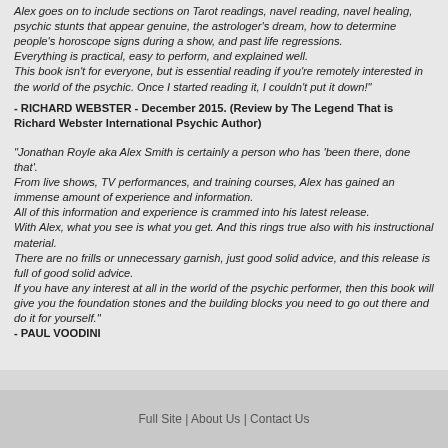Alex goes on to include sections on Tarot readings, navel reading, navel healing, psychic stunts that appear genuine, the astrologer's dream, how to determine people's horoscope signs during a show, and past life regressions. Everything is practical, easy to perform, and explained well. This book isn't for everyone, but is essential reading if you're remotely interested in the world of the psychic. Once I started reading it, I couldn't put it down!"
- RICHARD WEBSTER - December 2015. (Review by The Legend That is Richard Webster International Psychic Author)
"Jonathan Royle aka Alex Smith is certainly a person who has 'been there, done that'. From live shows, TV performances, and training courses, Alex has gained an immense amount of experience and information. All of this information and experience is crammed into his latest release. With Alex, what you see is what you get. And this rings true also with his instructional material. There are no frills or unnecessary garnish, just good solid advice, and this release is full of good solid advice. If you have any interest at all in the world of the psychic performer, then this book will give you the foundation stones and the building blocks you need to go out there and do it for yourself."
- PAUL VOODINI
Full Site | About Us | Contact Us